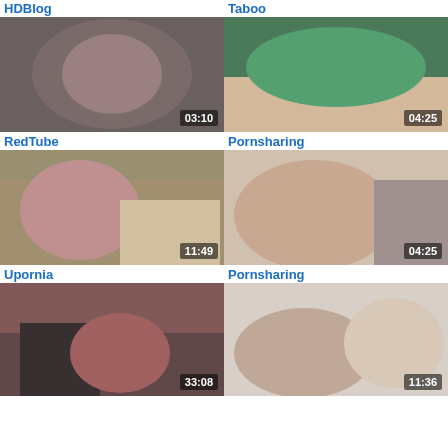HDBlog | Taboo
[Figure (photo): Video thumbnail with duration 03:10]
[Figure (photo): Video thumbnail with duration 04:25]
RedTube
Pornsharing
[Figure (photo): Video thumbnail with duration 11:49]
[Figure (photo): Video thumbnail with duration 04:25]
Upornia
Pornsharing
[Figure (photo): Video thumbnail with duration 33:08]
[Figure (photo): Video thumbnail with duration 11:36]